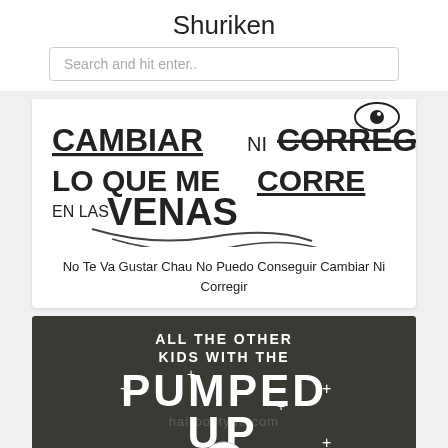Shuriken
Search and hit enter..
[Figure (illustration): Handwritten-style text art in black and white reading: CAMBIAR NI CORREGIR (with CORREGIR crossed out) / LO QUE ME CORRE EN LAS VENAS, with a decorative swirl and partial eye illustration]
No Te Va Gustar Chau No Puedo Conseguir Cambiar Ni Corregir
[Figure (illustration): Dark brown/olive background with white distressed text reading ALL THE OTHER KIDS WITH THE PUMPED UP, with a cartoon character (cat/bear figure) at the bottom and watermark text 'hairboytype.com']